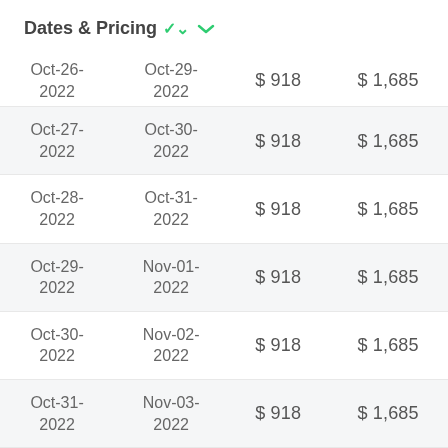Dates & Pricing
| Start Date | End Date | Price 1 | Price 2 |
| --- | --- | --- | --- |
| Oct-26-2022 | Oct-29-2022 | $ 918 | $ 1,685 |
| Oct-27-2022 | Oct-30-2022 | $ 918 | $ 1,685 |
| Oct-28-2022 | Oct-31-2022 | $ 918 | $ 1,685 |
| Oct-29-2022 | Nov-01-2022 | $ 918 | $ 1,685 |
| Oct-30-2022 | Nov-02-2022 | $ 918 | $ 1,685 |
| Oct-31-2022 | Nov-03-2022 | $ 918 | $ 1,685 |
| Nov-01- | Nov-04- | $ 918 | $ 1,685 |